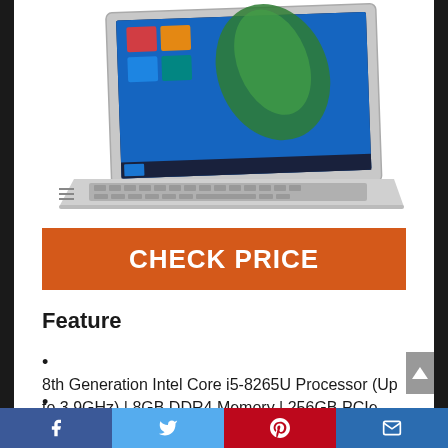[Figure (photo): Acer laptop computer shown from an angle, displaying Windows 10 Start menu on screen, silver body with black keyboard]
CHECK PRICE
Feature
8th Generation Intel Core i5-8265U Processor (Up to 3.9GHz) | 8GB DDR4 Memory | 256GB PCIe NVMe SSD
15.6″ Full HD (1920 x 1080)